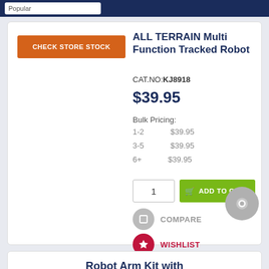Popular
ALL TERRAIN Multi Function Tracked Robot
CAT.NO:KJ8918
$39.95
Bulk Pricing:
1-2   $39.95
3-5   $39.95
6+   $39.95
CHECK STORE STOCK
ADD TO CART
COMPARE
WISHLIST
CHECK STORE
Robot Arm Kit with